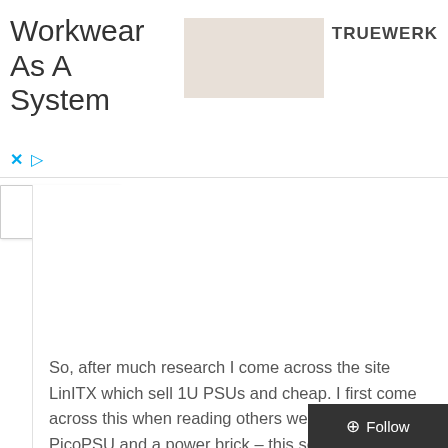[Figure (other): Advertisement banner for Truewerk workwear brand showing large title text 'Workwear As A System', a product image placeholder, and the TRUEWERK logo. Has X and play controls below.]
So, after much research I come across the site LinITX which sell 1U PSUs and cheap. I first come across this when reading others were using a PicoPSU and a power brick – this seemed to pricey for me £50+ though does offer less noise.
I emailed the guys over at LinITX as I was worried